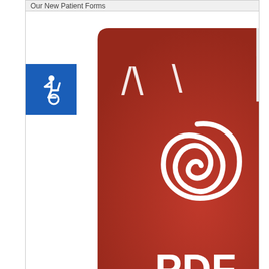Our New Patient Forms
[Figure (logo): Adobe PDF file icon — red document icon with white Acrobat logo and PDF label]
[Figure (logo): Accessibility icon — white wheelchair symbol on blue square background]
Our Office Hours
Monday - Thursday
8:00 a.m. - 12:00 p.m